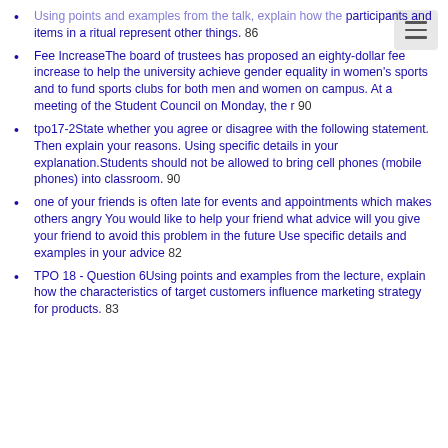Using points and examples from the talk, explain how the participants and items in a ritual represent other things. 86
Fee IncreaseThe board of trustees has proposed an eighty-dollar fee increase to help the university achieve gender equality in women's sports and to fund sports clubs for both men and women on campus. At a meeting of the Student Council on Monday, the r 90
tpo17-2State whether you agree or disagree with the following statement. Then explain your reasons. Using specific details in your explanation.Students should not be allowed to bring cell phones (mobile phones) into classroom. 90
one of your friends is often late for events and appointments which makes others angry You would like to help your friend what advice will you give your friend to avoid this problem in the future Use specific details and examples in your advice 82
TPO 18 - Question 6Using points and examples from the lecture, explain how the characteristics of target customers influence marketing strategy for products. 83